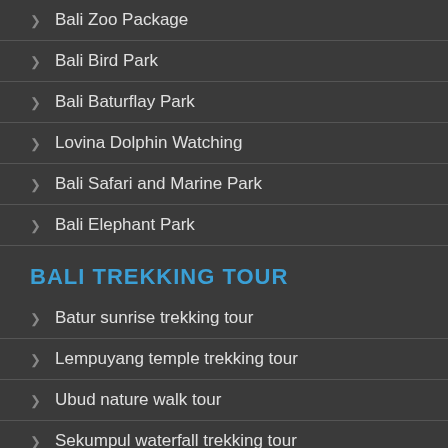Bali Zoo Package
Bali Bird Park
Bali Baturflay Park
Lovina Dolphin Watching
Bali Safari and Marine Park
Bali Elephant Park
BALI TREKKING TOUR
Batur sunrise trekking tour
Lempuyang temple trekking tour
Ubud nature walk tour
Sekumpul waterfall trekking tour